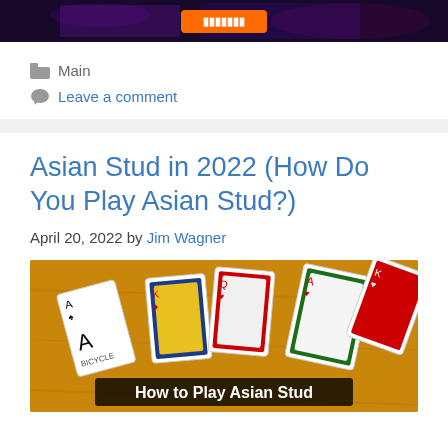[Figure (screenshot): Dark neon-themed banner image with an orange button in the center]
Main
Leave a comment
Asian Stud in 2022 (How Do You Play Asian Stud?)
April 20, 2022 by Jim Wagner
[Figure (photo): Photo of Bicycle brand playing cards spread on a wooden table with overlay text 'How to Play Asian Stud']